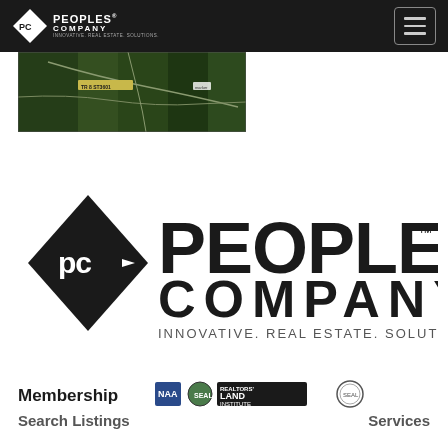Peoples Company — Innovative. Real Estate. Solutions.
[Figure (photo): Aerial satellite map image of land/forest property, horizontal strip]
[Figure (logo): Peoples Company logo — large diamond shape with PC arrow icon on left, PEOPLES COMPANY text on right, INNOVATIVE. REAL ESTATE. SOLUTIONS. tagline below]
Membership
[Figure (logo): Membership organization logos: NAA, one other badge, Realtors Land Institute, and one circular seal]
Search Listings
Services